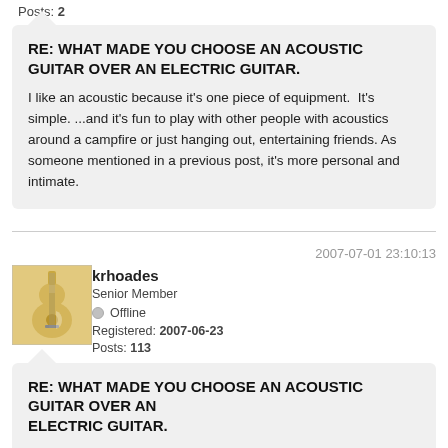Posts: 2
RE: WHAT MADE YOU CHOOSE AN ACOUSTIC GUITAR OVER AN ELECTRIC GUITAR.
I like an acoustic because it's one piece of equipment.  It's simple. ...and it's fun to play with other people with acoustics around a campfire or just hanging out, entertaining friends. As someone mentioned in a previous post, it's more personal and intimate.
2007-07-01 23:10:13
[Figure (photo): Avatar image of a guitar (Telecaster style, cream/blonde color)]
krhoades
Senior Member
Offline
Registered: 2007-06-23
Posts: 113
RE: WHAT MADE YOU CHOOSE AN ACOUSTIC GUITAR OVER AN ELECTRIC GUITAR.